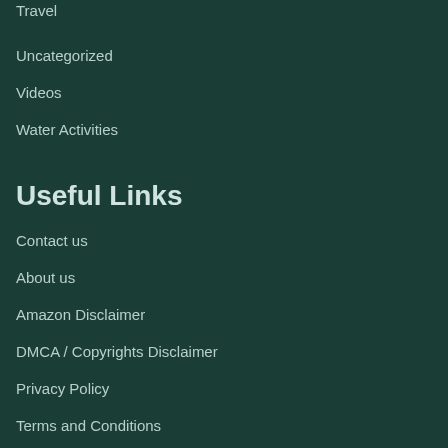Travel
Uncategorized
Videos
Water Activities
Useful Links
Contact us
About us
Amazon Disclaimer
DMCA / Copyrights Disclaimer
Privacy Policy
Terms and Conditions
Recent Articles